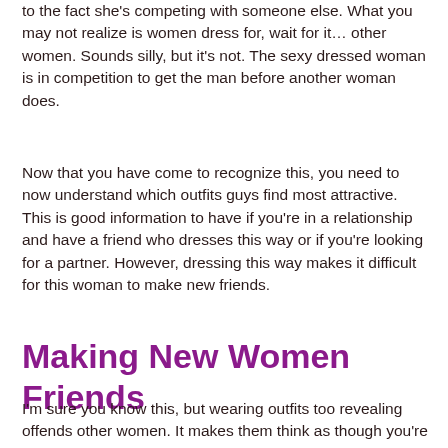to the fact she's competing with someone else. What you may not realize is women dress for, wait for it… other women. Sounds silly, but it's not. The sexy dressed woman is in competition to get the man before another woman does.
Now that you have come to recognize this, you need to now understand which outfits guys find most attractive. This is good information to have if you're in a relationship and have a friend who dresses this way or if you're looking for a partner. However, dressing this way makes it difficult for this woman to make new friends.
Making New Women Friends
I'm sure you know this, but wearing outfits too revealing offends other women. It makes them think as though you're